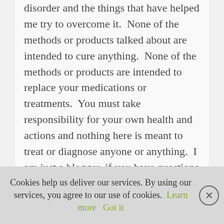disorder and the things that have helped me try to overcome it.  None of the methods or products talked about are intended to cure anything.  None of the methods or products are intended to replace your medications or treatments.  You must take responsibility for your own health and actions and nothing here is meant to treat or diagnose anyone or anything.  I am just a blogger, if you have questions about your physical or mental health, it's best to seek professional help.
Cookies help us deliver our services. By using our services, you agree to our use of cookies.  Learn more   Got it